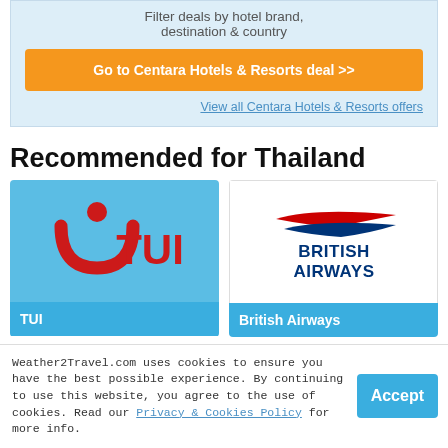Filter deals by hotel brand, destination & country
Go to Centara Hotels & Resorts deal >>
View all Centara Hotels & Resorts offers
Recommended for Thailand
[Figure (logo): TUI logo on blue background with red smiley/U symbol]
TUI
[Figure (logo): British Airways logo on white background with red and blue speed-bird emblem]
British Airways
Weather2Travel.com uses cookies to ensure you have the best possible experience. By continuing to use this website, you agree to the use of cookies. Read our Privacy & Cookies Policy for more info.